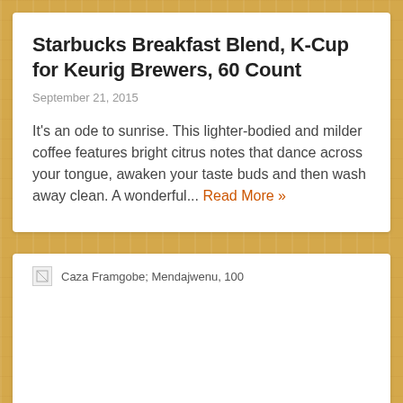Starbucks Breakfast Blend, K-Cup for Keurig Brewers, 60 Count
September 21, 2015
It's an ode to sunrise. This lighter-bodied and milder coffee features bright citrus notes that dance across your tongue, awaken your taste buds and then wash away clean. A wonderful... Read More »
Caza Framgobe; Mendajwenu, 100